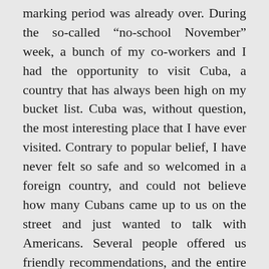marking period was already over. During the so-called “no-school November” week, a bunch of my co-workers and I had the opportunity to visit Cuba, a country that has always been high on my bucket list. Cuba was, without question, the most interesting place that I have ever visited. Contrary to popular belief, I have never felt so safe and so welcomed in a foreign country, and could not believe how many Cubans came up to us on the street and just wanted to talk with Americans. Several people offered us friendly recommendations, and the entire country could not have been more welcoming. After watching literally every documentary about Cuba on Netflix, it was also surreal being able to explore paces like the Hotel Nacional, (where infamous gangsters